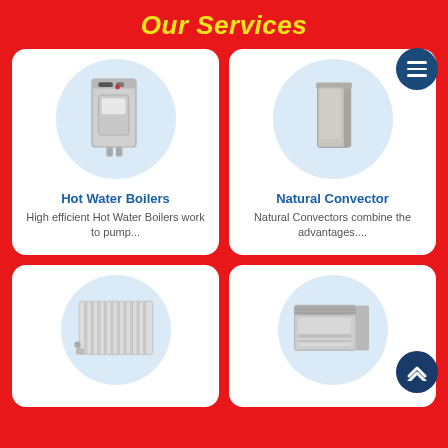Our Services
[Figure (photo): Hot water boiler appliance on light blue circular background]
Hot Water Boilers
High efficient Hot Water Boilers work to pump...
[Figure (photo): Natural convector panel unit on light blue circular background]
Natural Convector
Natural Convectors combine the advantages....
[Figure (photo): Radiator panel product on light blue circular background]
[Figure (photo): Fan coil unit product on light blue circular background]